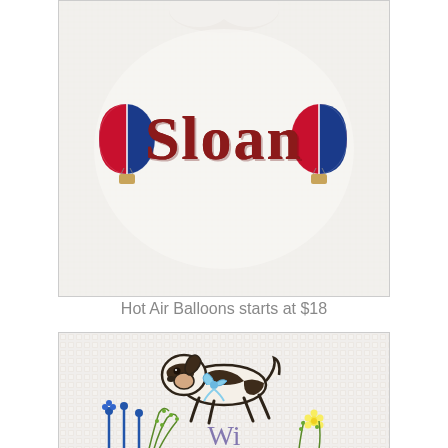[Figure (photo): Close-up photo of a white children's shirt with embroidered text 'Sloan' in dark red/maroon letters, flanked by two embroidered hot air balloons in red, white, and blue colors.]
Hot Air Balloons starts at $18
[Figure (photo): Close-up photo of a white waffle-texture fabric with an embroidered jumping dog (beagle-like) with a blue bow, surrounded by embroidered blue and green foliage and a small yellow flower.]